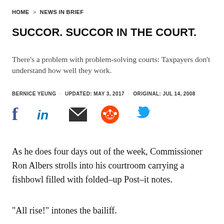HOME > NEWS IN BRIEF
SUCCOR. SUCCOR IN THE COURT.
There's a problem with problem-solving courts: Taxpayers don't understand how well they work.
BERNICE YEUNG · UPDATED: MAY 3, 2017 · ORIGINAL: JUL 14, 2008
[Figure (infographic): Social sharing icons: Facebook, LinkedIn, Email, Reddit, Twitter]
As he does four days out of the week, Commissioner Ron Albers strolls into his courtroom carrying a fishbowl filled with folded–up Post–it notes.
“All rise!” intones the bailiff.